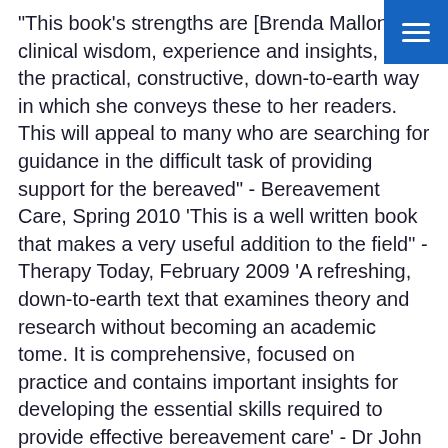"This book's strengths are [Brenda Mallon's] clinical wisdom, experience and insights, and the practical, constructive, down-to-earth way in which she conveys these to her readers. This will appeal to many who are searching for guidance in the difficult task of providing support for the bereaved" - Bereavement Care, Spring 2010 'This is a well written book that makes a very useful addition to the field" - Therapy Today, February 2009 'A refreshing, down-to-earth text that examines theory and research without becoming an academic tome. It is comprehensive, focused on practice and contains important insights for developing the essential skills required to provide effective bereavement care' - Dr John Costello, Head of Primary Care, University of Manchester 'Brenda Mallon gives the term "grief counselling" definition in a way no one has done before. If you are new to counselling the bereaved, this book is the best introduction I have seen. If you are an experienced